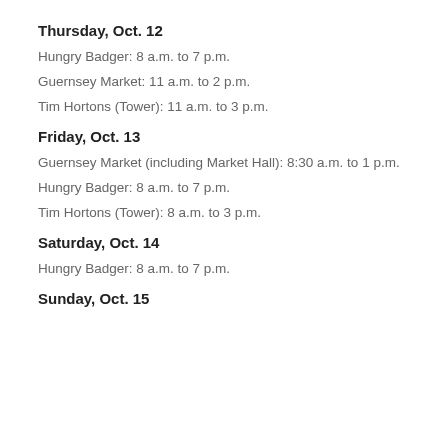Thursday, Oct. 12
Hungry Badger: 8 a.m. to 7 p.m.
Guernsey Market: 11 a.m. to 2 p.m.
Tim Hortons (Tower): 11 a.m. to 3 p.m.
Friday, Oct. 13
Guernsey Market (including Market Hall): 8:30 a.m. to 1 p.m.
Hungry Badger: 8 a.m. to 7 p.m.
Tim Hortons (Tower): 8 a.m. to 3 p.m.
Saturday, Oct. 14
Hungry Badger: 8 a.m. to 7 p.m.
Sunday, Oct. 15